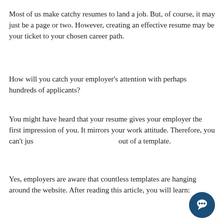Most of us make catchy resumes to land a job. But, of course, it may just be a page or two. However, creating an effective resume may be your ticket to your chosen career path.
How will you catch your employer's attention with perhaps hundreds of applicants?
You might have heard that your resume gives your employer the first impression of you. It mirrors your work attitude. Therefore, you can't just [May I help you?] out of a template.
Yes, employers are aware that countless templates are hanging around the website. After reading this article, you will learn:
[Figure (other): Chat bubble popup with text 'May I help you?' and a circular dark blue chat icon button in the bottom right corner]